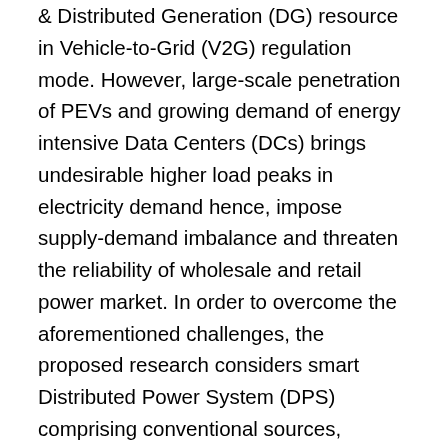& Distributed Generation (DG) resource in Vehicle-to-Grid (V2G) regulation mode. However, large-scale penetration of PEVs and growing demand of energy intensive Data Centers (DCs) brings undesirable higher load peaks in electricity demand hence, impose supply-demand imbalance and threaten the reliability of wholesale and retail power market. In order to overcome the aforementioned challenges, the proposed research considers smart Distributed Power System (DPS) comprising conventional sources, renewable energy, V2G regulation, and flexible storage energy resources. Moreover, price and incentive based Demand Response (DR) programs are implemented to sustain the balance between net demand and available generating resources in the DPS. In addition, we adapted a novel strategy to implement the computational intensive jobs of the proposed DPS model including incoming load profiles, V2G regulation, battery State of Charge (SOC) indication, and fast computation in decision based automated DR algorithm using Fast Performance Computing